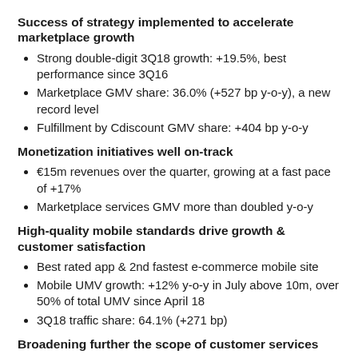Success of strategy implemented to accelerate marketplace growth
Strong double-digit 3Q18 growth: +19.5%, best performance since 3Q16
Marketplace GMV share: 36.0% (+527 bp y-o-y), a new record level
Fulfillment by Cdiscount GMV share: +404 bp y-o-y
Monetization initiatives well on-track
€15m revenues over the quarter, growing at a fast pace of +17%
Marketplace services GMV more than doubled y-o-y
High-quality mobile standards drive growth & customer satisfaction
Best rated app & 2nd fastest e-commerce mobile site
Mobile UMV growth: +12% y-o-y in July above 10m, over 50% of total UMV since April 18
3Q18 traffic share: 64.1% (+271 bp)
Broadening further the scope of customer services
Cdiscount Energie: number of new customers doubled